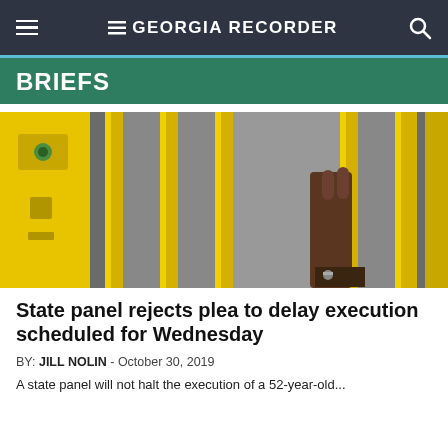GEORGIA RECORDER
BRIEFS
[Figure (photo): Close-up of yellow jail cell bars with a person's hand gripping them, holding keys.]
State panel rejects plea to delay execution scheduled for Wednesday
BY: JILL NOLIN - October 30, 2019
A state panel will not halt the execution of a 52-year-old...